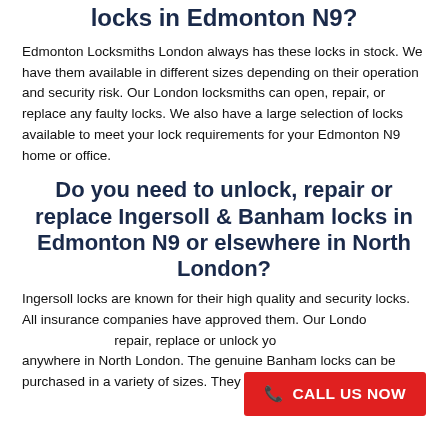locks in Edmonton N9?
Edmonton Locksmiths London always has these locks in stock. We have them available in different sizes depending on their operation and security risk. Our London locksmiths can open, repair, or replace any faulty locks. We also have a large selection of locks available to meet your lock requirements for your Edmonton N9 home or office.
Do you need to unlock, repair or replace Ingersoll & Banham locks in Edmonton N9 or elsewhere in North London?
Ingersoll locks are known for their high quality and security locks. All insurance companies have approved them. Our London locksmiths can repair, replace or unlock your Ingersoll locks anywhere in North London. The genuine Banham locks can be purchased in a variety of sizes. They